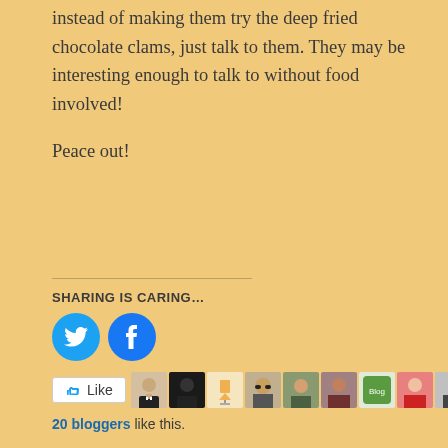instead of making them try the deep fried chocolate clams, just talk to them. They may be interesting enough to talk to without food involved!
Peace out!
SHARING IS CARING...
[Figure (other): Social share buttons: Twitter and Facebook circular icons]
[Figure (other): WordPress Like button with avatar strip showing 20 blogger avatars]
20 bloggers like this.
I'll Take Easter Candy for $100, Alex!
March 4, 2021
In "weight loss"
We Don't Talk About Bruno…
March 3, 2022
In "weight loss"